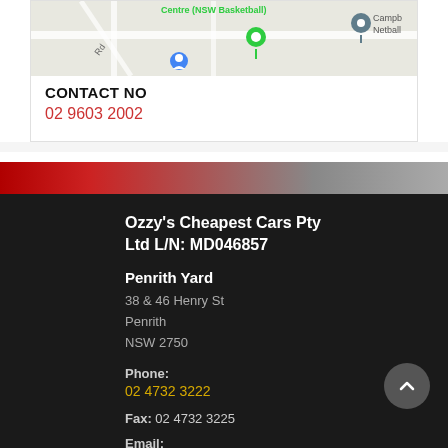[Figure (map): Google Maps screenshot showing street map with location pins including a green marker and a grey marker labeled 'Campb Netball', with road labeled 'Rd' visible]
CONTACT NO
02 9603 2002
[Figure (photo): Strip of car image showing red and grey cars]
Ozzy's Cheapest Cars Pty Ltd L/N: MD046857
Penrith Yard
38 & 46 Henry St
Penrith
NSW 2750
Phone:
02 4732 3222
Fax: 02 4732 3225
Email: